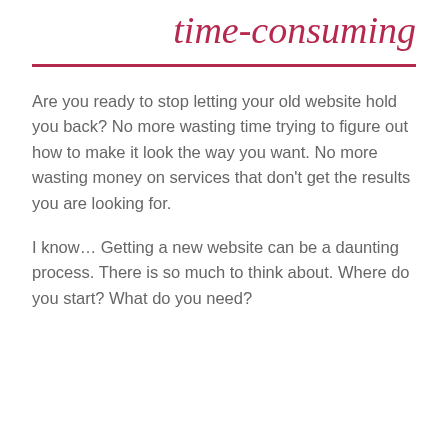time-consuming
Are you ready to stop letting your old website hold you back? No more wasting time trying to figure out how to make it look the way you want. No more wasting money on services that don’t get the results you are looking for.
I know… Getting a new website can be a daunting process. There is so much to think about. Where do you start? What do you need?